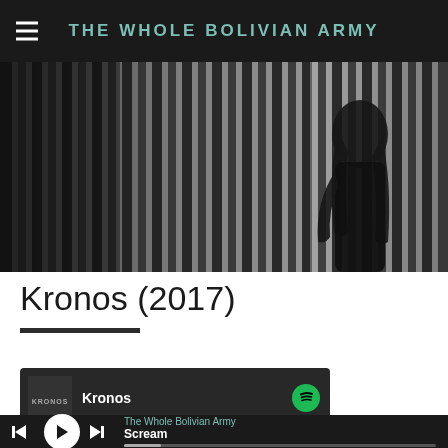THE WHOLE BOLIVIAN ARMY
[Figure (photo): Black and white photo of a silhouette of a person with long hair standing against vertical bars or blinds, moody and atmospheric]
Kronos (2017)
[Figure (screenshot): Spotify embedded player showing album 'Kronos' by The Whole Bolivian Army, currently playing 'Scream']